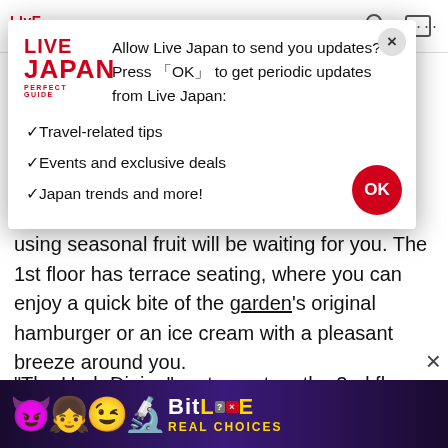Live Japan Perfect Guide
[Figure (screenshot): Browser notification permission modal for Live Japan website with logo, permission request text, list items (Travel-related tips, Events and exclusive deals, Japan trends and more!), and red OK button]
using seasonal fruit will be waiting for you. The 1st floor has terrace seating, where you can enjoy a quick bite of the garden's original hamburger or an ice cream with a pleasant breeze around you.
"The Herb Dining" restaurant on the 2nd floor of the observation rest house serves nine main dishes (of meat,
[Figure (screenshot): BitLife advertisement banner showing emojis (devil, angel girl, winking face, sperm) and BitLife Real Choices branding on dark purple background]